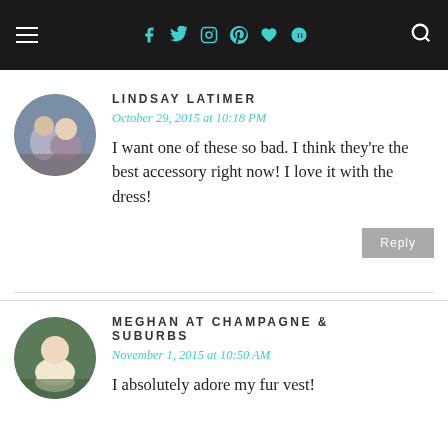≡ f t ☷ ℗ ♥ g+ 🔍
LINDSAY LATIMER
October 29, 2015 at 10:18 PM
I want one of these so bad. I think they're the best accessory right now! I love it with the dress!
Reply
MEGHAN AT CHAMPAGNE & SUBURBS
November 1, 2015 at 10:50 AM
I absolutely adore my fur vest!